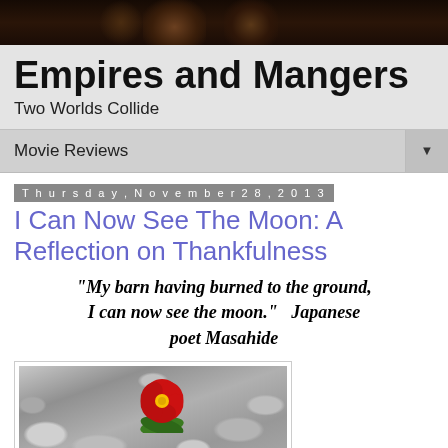[Figure (photo): Dark header photo showing blurred bokeh lights/figures against a dark brown/black background]
Empires and Mangers
Two Worlds Collide
Movie Reviews ▼
Thursday, November 28, 2013
I Can Now See The Moon: A Reflection on Thankfulness
"My barn having burned to the ground, I can now see the moon."   Japanese poet Masahide
[Figure (photo): Black and white photo of rocky ground with a single vivid red flower with green leaves in the center]